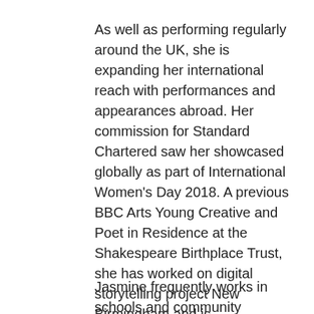As well as performing regularly around the UK, she is expanding her international reach with performances and appearances abroad. Her commission for Standard Chartered saw her showcased globally as part of International Women's Day 2018. A previous BBC Arts Young Creative and Poet in Residence at the Shakespeare Birthplace Trust, she has worked on digital storytelling project New Birmingham and is collaborating with Autin Dance Theatre on a sexual health show combining dance and spoken word.
Jasmine frequently works in schools and community settings. She specialises in running LGBTQ+ and sex education workshops for young people, combining creativity, poetry and sex education. She also runs school clubs and leads CPD training for teachers. I am certain that